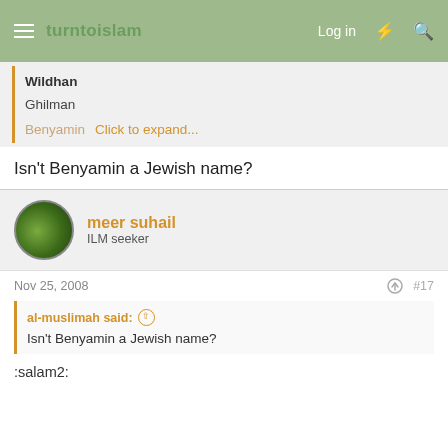turntoislam — Log in
Wildhan
Ghilman
Benyamin — Click to expand...
Isn't Benyamin a Jewish name?
meer suhail
ILM seeker
Nov 25, 2008   #17
al-muslimah said: ↑
Isn't Benyamin a Jewish name?
:salam2: